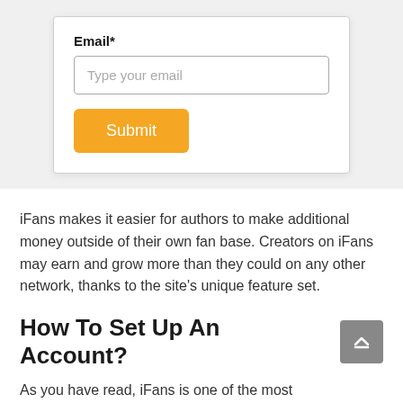Email*
[Figure (screenshot): Email input field with placeholder text 'Type your email' and an orange Submit button below it, inside a white card with border]
iFans makes it easier for authors to make additional money outside of their own fan base. Creators on iFans may earn and grow more than they could on any other network, thanks to the site's unique feature set.
How To Set Up An Account?
As you have read, iFans is one of the most